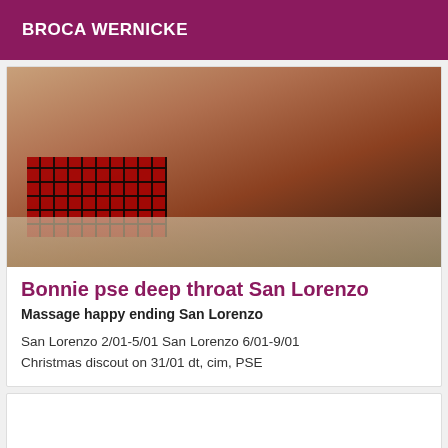BROCA WERNICKE
[Figure (photo): Woman in red plaid skirt on all fours on a checkered rug on a wooden floor, wearing headphones]
Bonnie pse deep throat San Lorenzo
Massage happy ending San Lorenzo
San Lorenzo 2/01-5/01 San Lorenzo 6/01-9/01
Christmas discout on 31/01 dt, cim, PSE